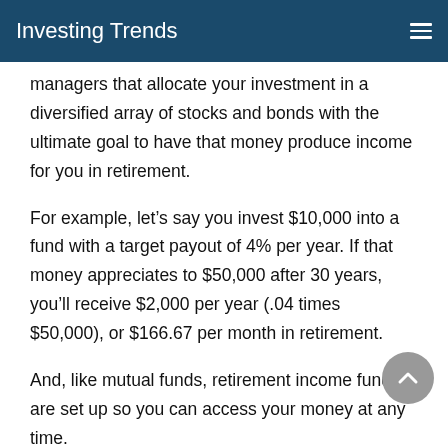Investing Trends
managers that allocate your investment in a diversified array of stocks and bonds with the ultimate goal to have that money produce income for you in retirement.
For example, let’s say you invest $10,000 into a fund with a target payout of 4% per year. If that money appreciates to $50,000 after 30 years, you’ll receive $2,000 per year (.04 times $50,000), or $166.67 per month in retirement.
And, like mutual funds, retirement income funds are set up so you can access your money at any time.
Immediate Annuities